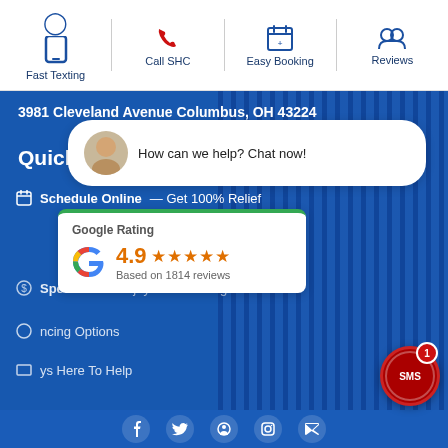[Figure (screenshot): Website screenshot of a healthcare/medical company (SHC) showing navigation icons (Fast Texting, Call SHC, Easy Booking, Reviews), address, Quick Actions section, a chat overlay saying 'How can we help? Chat now!', a Google Rating card showing 4.9 stars based on 1814 reviews, and an SMS button with notification badge.]
Fast Texting
Call SHC
Easy Booking
Reviews
3981 Cleveland Avenue Columbus, OH 43224
Quick Actions
Schedule Online — Get 100% Relief
Specials — Enjoy Extra Savings
ncing Options
ys Here To Help
How can we help? Chat now!
Google Rating
4.9
Based on 1814 reviews
SMS